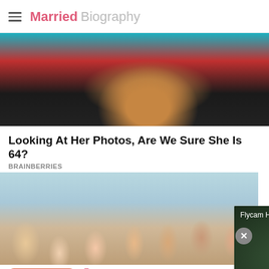Married Biography
[Figure (photo): Close-up photo of a woman partially visible, with teal and red background]
Looking At Her Photos, Are We Sure She Is 64?
BRAINBERRIES
[Figure (photo): Group photo of young TV cast members with overlay: an X/close button, and a video thumbnail titled 'Flycam Hai Van P...' showing aerial road view with play button]
Next Article >> Face cov and keep the face mask on in public spaces!